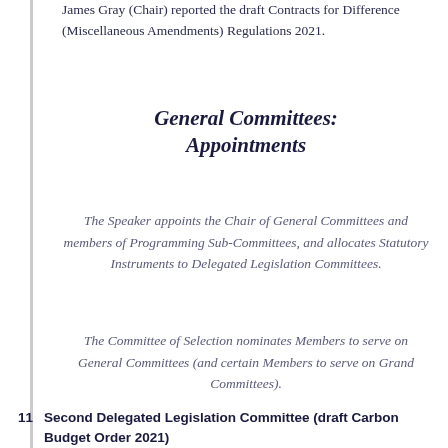James Gray (Chair) reported the draft Contracts for Difference (Miscellaneous Amendments) Regulations 2021.
General Committees: Appointments
The Speaker appoints the Chair of General Committees and members of Programming Sub-Committees, and allocates Statutory Instruments to Delegated Legislation Committees.
The Committee of Selection nominates Members to serve on General Committees (and certain Members to serve on Grand Committees).
11  Second Delegated Legislation Committee (draft Carbon Budget Order 2021)